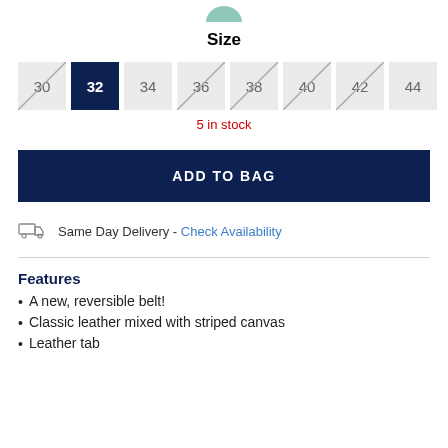[Figure (logo): Partial circular logo/icon at top center]
Size
[Figure (other): Size selector buttons: 30 (crossed out), 32 (selected/navy), 34, 36 (crossed out), 38 (crossed out), 40 (crossed out), 42 (crossed out), 44]
5 in stock
ADD TO BAG
Same Day Delivery - Check Availability
Features
A new, reversible belt!
Classic leather mixed with striped canvas
Leather tab